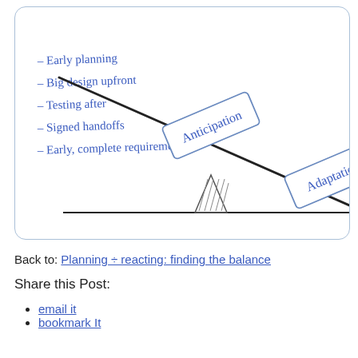[Figure (illustration): A hand-drawn sketch inside a rounded-rectangle border showing a seesaw/balance diagram. The left side of the seesaw is raised and shows a tilted label box reading 'Anticipation'. On the left side of the image are handwritten bullet points: '- Early planning', '- Big design upfront', '- Testing after', '- Signed handoffs', '- Early, complete requirements'. The right side of the seesaw is lowered and shows a partially visible label box reading 'Adaptatio[n]'. A triangle fulcrum is at the center bottom, and a horizontal ground line runs across the base.]
Back to: Planning ÷ reacting: finding the balance
Share this Post:
email it
bookmark It